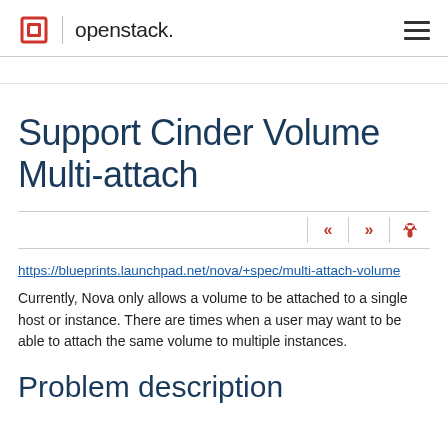openstack.
Support Cinder Volume Multi-attach
https://blueprints.launchpad.net/nova/+spec/multi-attach-volume
Currently, Nova only allows a volume to be attached to a single host or instance. There are times when a user may want to be able to attach the same volume to multiple instances.
Problem description